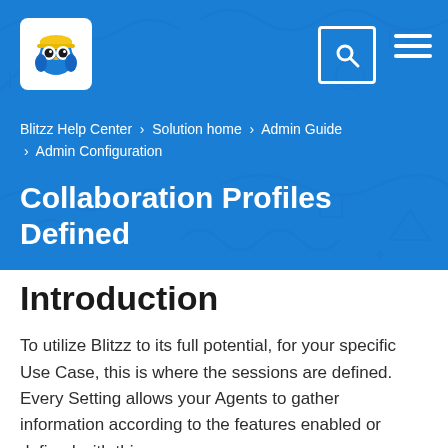Blitzz Help Center › Solution home › Admin Guide › Admin Configuration
Collaboration Profiles Defined
Introduction
To utilize Blitzz to its full potential, for your specific Use Case, this is where the sessions are defined. Every Setting allows your Agents to gather information according to the features enabled or defined with this